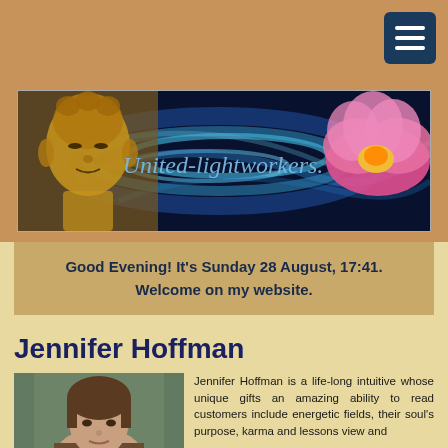[Figure (screenshot): Navigation menu button (hamburger) in dark blue, top right corner on tan background]
[Figure (illustration): Website banner for United-lightworkers featuring a golden Buddha head on the left, blue energy swirls in the center with italic cursive text 'United-lightworkers.' and a pink lotus flower on the right, on a dark blue/black background]
Good Evening! It's Sunday 28 August, 17:41.
Welcome on my website.
Jennifer Hoffman
[Figure (photo): Portrait photo of Jennifer Hoffman, a woman with brown hair looking at camera]
Jennifer Hoffman is a life-long intuitive whose unique gifts an amazing ability to read customers include energetic fields, their soul's purpose, karma and lessons view and